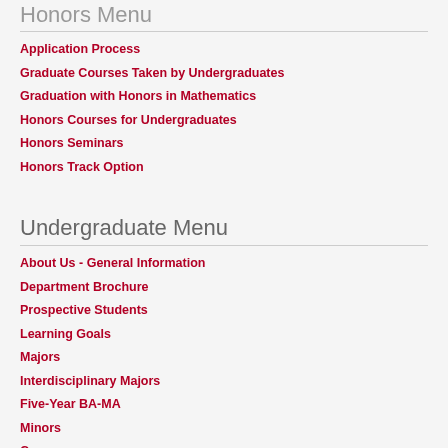Honors Menu
Application Process
Graduate Courses Taken by Undergraduates
Graduation with Honors in Mathematics
Honors Courses for Undergraduates
Honors Seminars
Honors Track Option
Undergraduate Menu
About Us - General Information
Department Brochure
Prospective Students
Learning Goals
Majors
Interdisciplinary Majors
Five-Year BA-MA
Minors
Courses